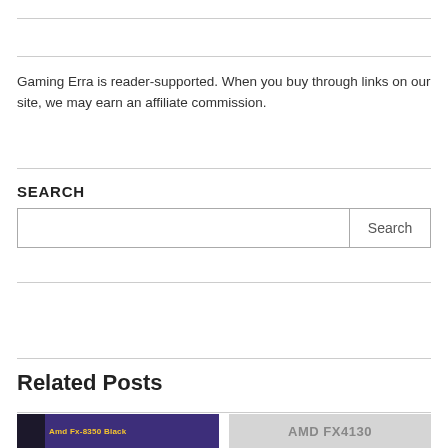Gaming Erra is reader-supported. When you buy through links on our site, we may earn an affiliate commission.
SEARCH
Related Posts
[Figure (screenshot): Thumbnail image showing 'Amd Fx-8350 Black' text on a purple/dark background]
[Figure (screenshot): Thumbnail image showing 'AMD FX4130' text on a light gray background]